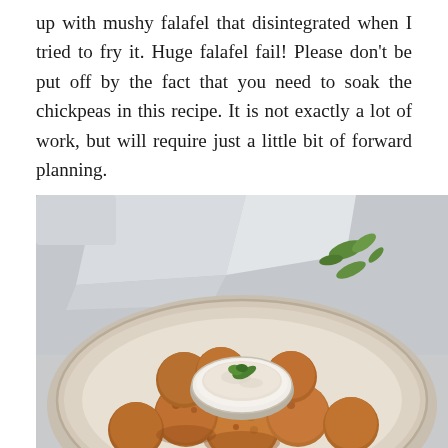up with mushy falafel that disintegrated when I tried to fry it. Huge falafel fail! Please don't be put off by the fact that you need to soak the chickpeas in this recipe. It is not exactly a lot of work, but will require just a little bit of forward planning.
[Figure (photo): A plate of golden fried falafel balls arranged around a small white bowl of creamy dip garnished with a fresh mint leaf. Loose fresh herbs are scattered in the background on a light grey surface with a white cloth napkin.]